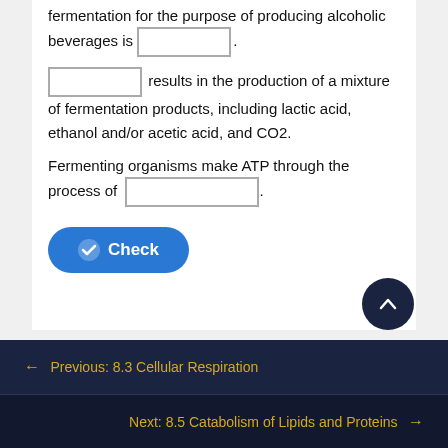fermentation for the purpose of producing alcoholic beverages is [blank].
[blank] results in the production of a mixture of fermentation products, including lactic acid, ethanol and/or acetic acid, and CO2.
Fermenting organisms make ATP through the process of [blank].
[Figure (other): Blue 'Check' button with checkmark icon]
[Figure (other): Dark circular scroll-to-top button with upward arrow]
← Previous: 8.3 Cellular Respiration
Next: 8.5 Catabolism of Lipids and Proteins →